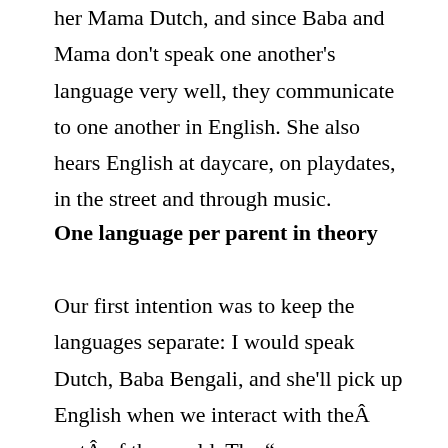her Mama Dutch, and since Baba and Mama don't speak one another's language very well, they communicate to one another in English. She also hears English at daycare, on playdates, in the street and through music.
One language per parent in theory
Our first intention was to keep the languages separate: I would speak Dutch, Baba Bengali, and she'll pick up English when we interact with theÂ restÂ of the world. The “one